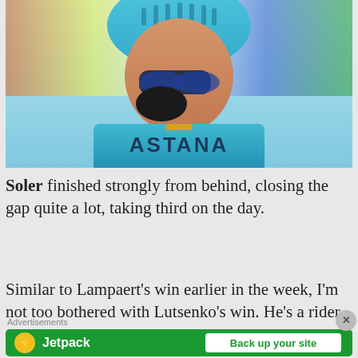[Figure (photo): Cyclist wearing Astana team jersey and blue helmet, pointing gesture, with sunglasses and cycling gloves, crowd in background]
Soler finished strongly from behind, closing the gap quite a lot, taking third on the day.
Similar to Lampaert's win earlier in the week, I'm not too bothered with Lutsenko's win. He's a rider who I
Advertisements
[Figure (infographic): Jetpack advertisement banner with green background showing Jetpack logo and 'Back up your site' button]